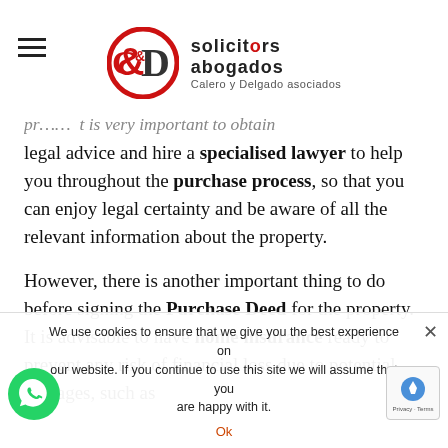[Figure (logo): C&D Solicitors Abogados - Calero y Delgado asociados logo with red ring and D letterform]
...previous text cut off... it is very important to obtain legal advice and hire a specialised lawyer to help you throughout the purchase process, so that you can enjoy legal certainty and be aware of all the relevant information about the property.
However, there is another important thing to do before signing the Purchase Deed for the property. It is advisable to have home insurance ready to prevent any risk of financial loss due to potential damages, such as the... investment made is self-evident.
This is why we're posting this article to clarify...
We use cookies to ensure that we give you the best experience on our website. If you continue to use this site we will assume that you are happy with it. Ok